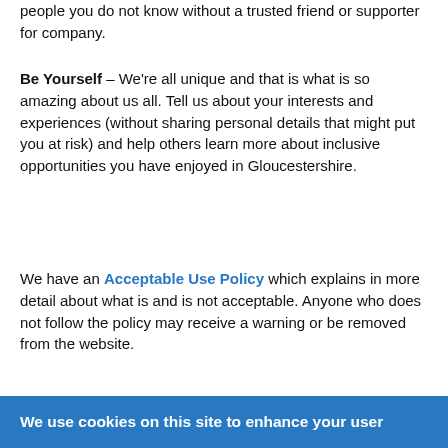people you do not know without a trusted friend or supporter for company.
Be Yourself – We're all unique and that is what is so amazing about us all. Tell us about your interests and experiences (without sharing personal details that might put you at risk) and help others learn more about inclusive opportunities you have enjoyed in Gloucestershire.
We have an Acceptable Use Policy which explains in more detail about what is and is not acceptable. Anyone who does not follow the policy may receive a warning or be removed from the website.
We use cookies on this site to enhance your user